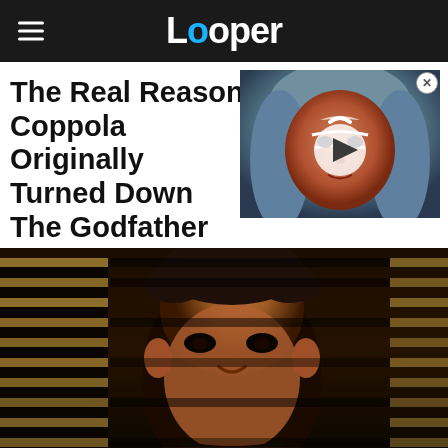Looper
[Figure (screenshot): Video thumbnail showing a character with face paint (Ahsoka) with a play button overlay]
The Real Reason Coppola Originally Turned Down The Godfather
[Figure (photo): Dark cinematic photo of a man's face, likely from The Godfather film, with venetian blind light pattern in background]